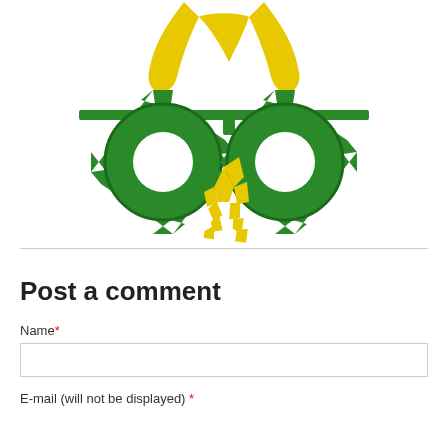[Figure (logo): A stylized green and yellow logo featuring two green gear/cog wheels with holes in the center, connected by a horizontal green bar with a vertical element, and yellow abstract shapes above and between/below the gears suggesting a plant or mechanical figure.]
Post a comment
Name*
E-mail (will not be displayed) *